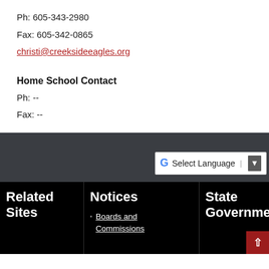Ph: 605-343-2980
Fax: 605-342-0865
christi@creeksideeagles.org
Home School Contact
Ph: --
Fax: --
[Figure (screenshot): Dark gray website footer bar with Google Translate widget showing 'Select Language' dropdown]
Related Sites
Notices
Boards and Commissions
State Government